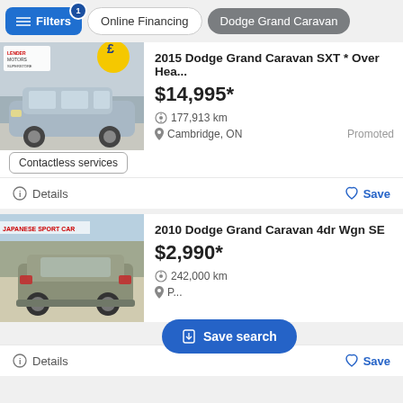Filters | Online Financing | Dodge Grand Caravan
[Figure (photo): 2015 Dodge Grand Caravan SXT silver minivan at Lender Motors Superstore dealership, with yellow promotional badge]
2015 Dodge Grand Caravan SXT * Over Hea...
$14,995*
177,913 km
Cambridge, ON
Promoted
Contactless services
Details   Save
[Figure (photo): 2010 Dodge Grand Caravan 4dr Wgn SE gray minivan rear view at Japanese Sport Car dealership]
2010 Dodge Grand Caravan 4dr Wgn SE
$2,990*
242,000 km
Save search
Details   Save